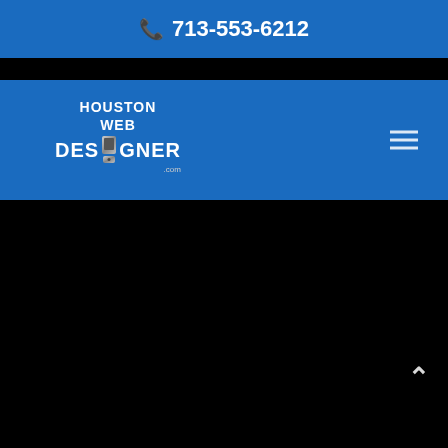713-553-6212
[Figure (logo): Houston Web Designer logo with white text and a stylized server/monitor icon replacing the letter 'I' in DESIGNER]
scroll to top arrow